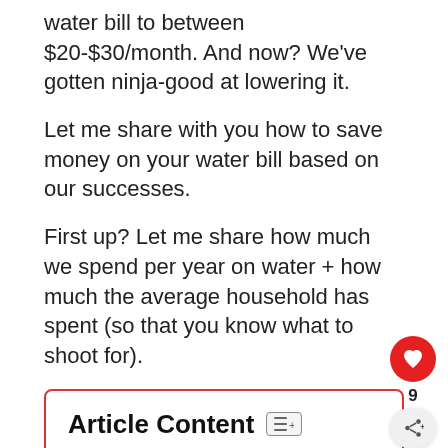water bill to between $20-$30/month. And now? We've gotten ninja-good at lowering it.
Let me share with you how to save money on your water bill based on our successes.
First up? Let me share how much we spend per year on water + how much the average household has spent (so that you know what to shoot for).
Article Content
How Much is the Average Water